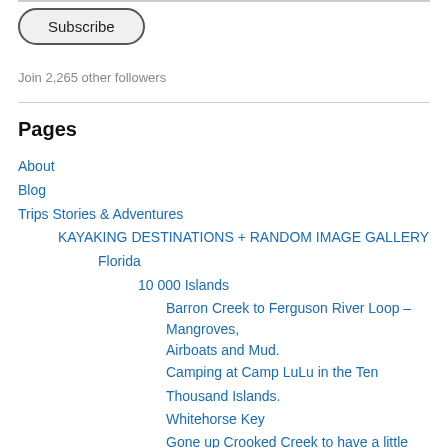[Figure (other): Subscribe button with rounded pill shape]
Join 2,265 other followers
Pages
About
Blog
Trips Stories & Adventures
KAYAKING DESTINATIONS + RANDOM IMAGE GALLERY
Florida
10 000 Islands
Barron Creek to Ferguson River Loop – Mangroves, Airboats and Mud.
Camping at Camp LuLu in the Ten Thousand Islands.
Whitehorse Key
Gone up Crooked Creek to have a little chickee camping fun!